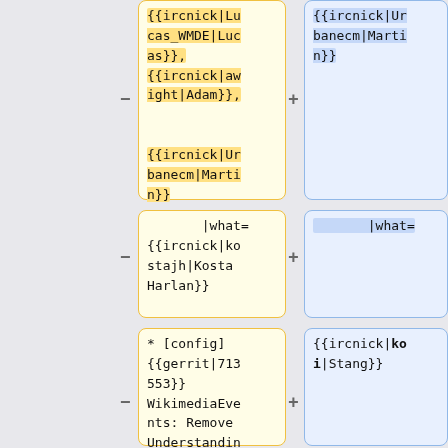{{ircnick|Lucas_WMDE|Lucas}}, {{ircnick|awright|Adam}}, {{ircnick|Urbanecm|Martin}}
{{ircnick|Urbanecm|Martin}}
|what= {{ircnick|kostajh|Kosta Harlan}}
|what=
* [config] {{gerrit|713553}} WikimediaEvents: Remove UnderstandingFirstDay
{{ircnick|koi|Stang}}